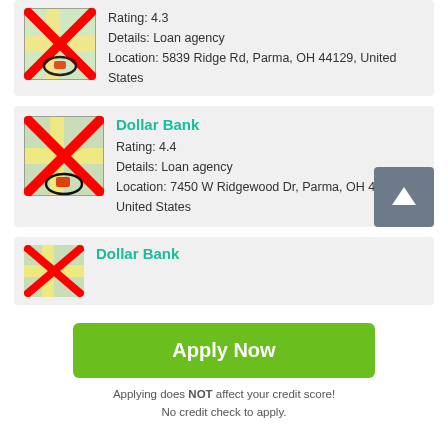[Figure (screenshot): Map placeholder icon with red X overlay and location pin circle — first card]
Rating: 4.3
Details: Loan agency
Location: 5839 Ridge Rd, Parma, OH 44129, United States
[Figure (screenshot): Map placeholder icon with red X overlay and location pin circle — Dollar Bank card]
Dollar Bank
Rating: 4.4
Details: Loan agency
Location: 7450 W Ridgewood Dr, Parma, OH 44129, United States
[Figure (screenshot): Map placeholder icon with red X overlay — third card]
Dollar Bank
Apply Now
Applying does NOT affect your credit score!
No credit check to apply.